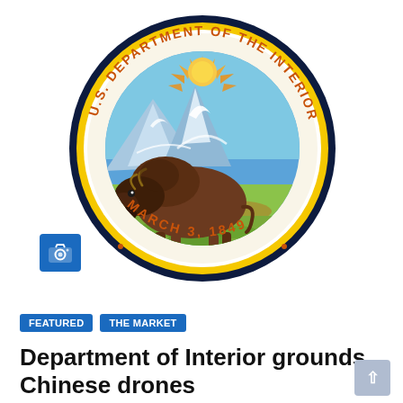[Figure (logo): U.S. Department of the Interior official seal showing a bison grazing on a prairie landscape with mountains and a sunrise, surrounded by the text 'U.S. DEPARTMENT OF THE INTERIOR' and 'MARCH 3, 1849' in orange/brown lettering on a dark navy blue circular border with yellow ring.]
FEATURED
THE MARKET
Department of Interior grounds Chinese drones